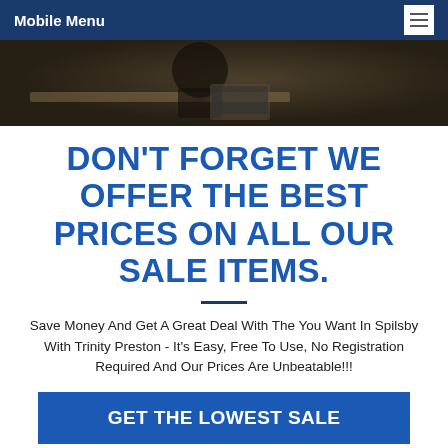Mobile Menu
[Figure (photo): Dark photo of a person studying or writing at a desk, dimly lit scene.]
DON'T FORGET WE OFFER THE BEST PRICES ON ALL OUR SALE ITEMS.
Save Money And Get A Great Deal With The You Want In Spilsby With Trinity Preston - It's Easy, Free To Use, No Registration Required And Our Prices Are Unbeatable!!!
GET THE LOWEST SALE